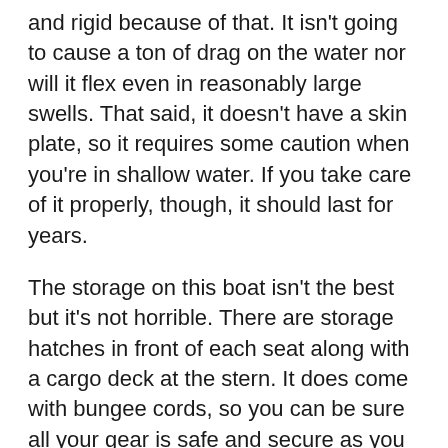and rigid because of that. It isn't going to cause a ton of drag on the water nor will it flex even in reasonably large swells. That said, it doesn't have a skin plate, so it requires some caution when you're in shallow water. If you take care of it properly, though, it should last for years.
The storage on this boat isn't the best but it's not horrible. There are storage hatches in front of each seat along with a cargo deck at the stern. It does come with bungee cords, so you can be sure all your gear is safe and secure as you fish. The Yellowfin 130T Tandem also has four mounting areas for accessories and two rod holders of the flush-mount type.